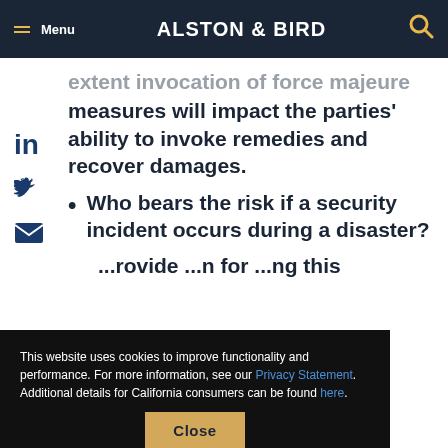Menu | ALSTON & BIRD
extent invocation of force majeure measures will impact the parties' ability to invoke remedies and recover damages.
Who bears the risk if a security incident occurs during a disaster?
...provide ...on for ...ng this
...to relaxed security measures, as discussed above? How is risk...
This website uses cookies to improve functionality and performance. For more information, see our Privacy Statement. Additional details for California consumers can be found here.